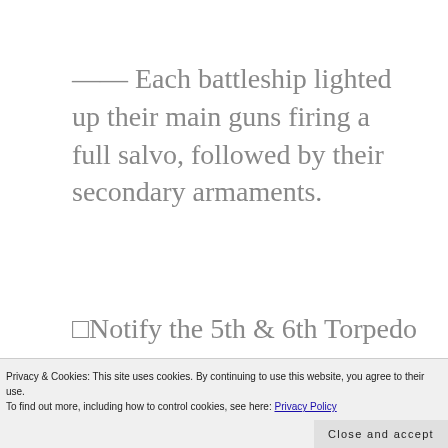—— Each battleship lighted up their main guns firing a full salvo, followed by their secondary armaments.
□Notify the 5th & 6th Torpedo
Privacy & Cookies: This site uses cookies. By continuing to use this website, you agree to their use. To find out more, including how to control cookies, see here: Privacy Policy
Close and accept